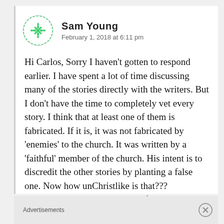[Figure (illustration): Green geometric snowflake avatar icon for Sam Young]
Sam Young
February 1, 2018 at 6:11 pm
Hi Carlos, Sorry I haven't gotten to respond earlier. I have spent a lot of time discussing many of the stories directly with the writers. But I don't have the time to completely vet every story. I think that at least one of them is fabricated. If it is, it was not fabricated by 'enemies' to the church. It was written by a 'faithful' member of the church. His intent is to discredit the other stories by planting a false one. Now how unChristlike is that??? Denigrating the sacred stories of the harm that
Advertisements